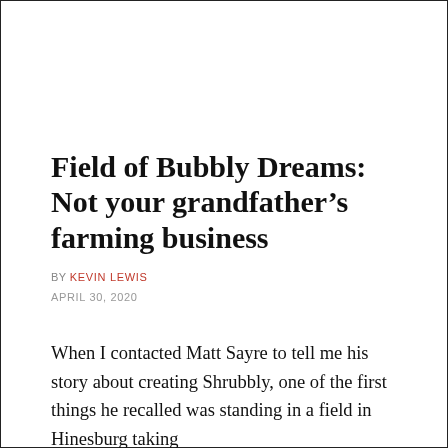Field of Bubbly Dreams: Not your grandfather’s farming business
BY KEVIN LEWIS
APRIL 30, 2020
When I contacted Matt Sayre to tell me his story about creating Shrubbly, one of the first things he recalled was standing in a field in Hinesburg taking